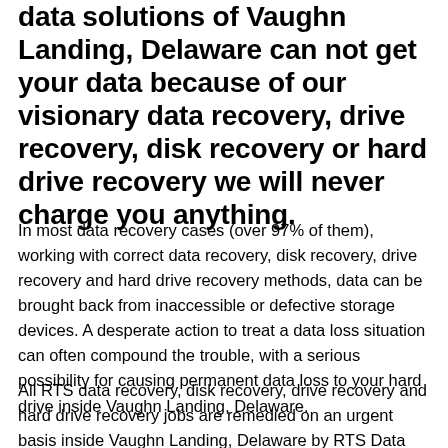data solutions of Vaughn Landing, Delaware can not get your data because of our visionary data recovery, drive recovery, disk recovery or hard drive recovery we will never charge you anything.
In most data recovery cases (over 97% of them), working with correct data recovery, disk recovery, drive recovery and hard drive recovery methods, data can be brought back from inaccessible or defective storage devices. A desperate action to treat a data loss situation can often compound the trouble, with a serious possibility for causing permanent data loss to your hard drive inside Vaughn Landing, Delaware.
All RTS data recovery, disk recovery, drive recovery and hard drive recovery jobs are remedied on an urgent basis inside Vaughn Landing, Delaware by RTS Data Recovery, Data